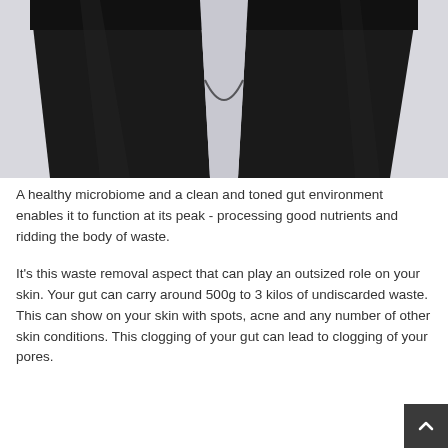[Figure (photo): Close-up photo of a person wearing black leggings/tights against a light grey background, showing the lower torso and upper thigh area.]
A healthy microbiome and a clean and toned gut environment enables it to function at its peak - processing good nutrients and ridding the body of waste.
It's this waste removal aspect that can play an outsized role on your skin. Your gut can carry around 500g to 3 kilos of undiscarded waste. This can show on your skin with spots, acne and any number of other skin conditions. This clogging of your gut can lead to clogging of your pores.